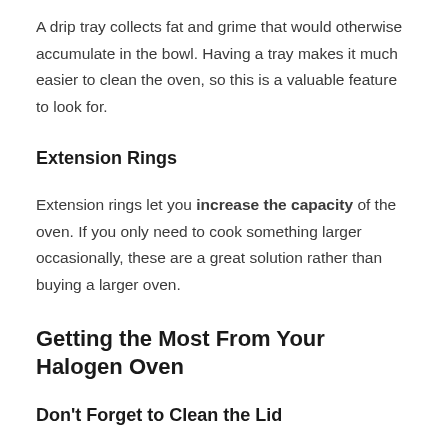A drip tray collects fat and grime that would otherwise accumulate in the bowl. Having a tray makes it much easier to clean the oven, so this is a valuable feature to look for.
Extension Rings
Extension rings let you increase the capacity of the oven. If you only need to cook something larger occasionally, these are a great solution rather than buying a larger oven.
Getting the Most From Your Halogen Oven
Don't Forget to Clean the Lid